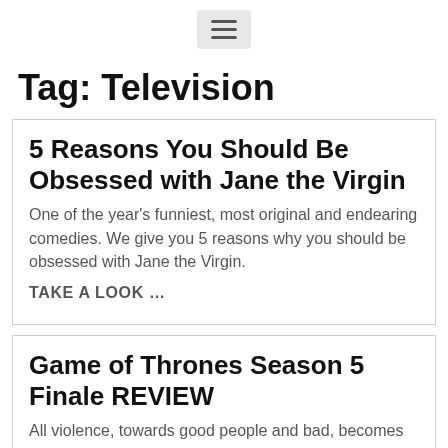☰
Tag: Television
5 Reasons You Should Be Obsessed with Jane the Virgin
One of the year's funniest, most original and endearing comedies. We give you 5 reasons why you should be obsessed with Jane the Virgin.
TAKE A LOOK …
Game of Thrones Season 5 Finale REVIEW
All violence, towards good people and bad, becomes equal in its brutality. We take a look at the brutal Game of Thrones season 5 finale.